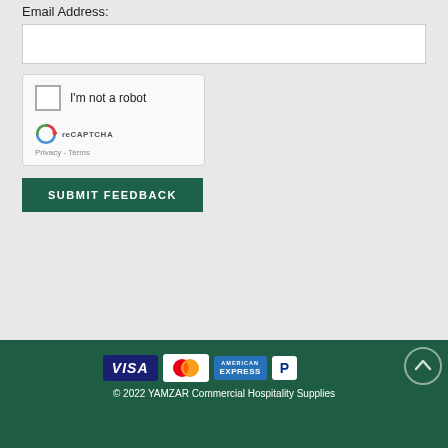Email Address:
[Figure (screenshot): reCAPTCHA widget with checkbox labeled 'I'm not a robot', reCAPTCHA logo, Privacy and Terms links]
SUBMIT FEEDBACK
[Figure (infographic): Payment method icons: VISA, Mastercard, American Express, PayPal]
© 2022 YAMZAR Commercial Hospitality Supplies